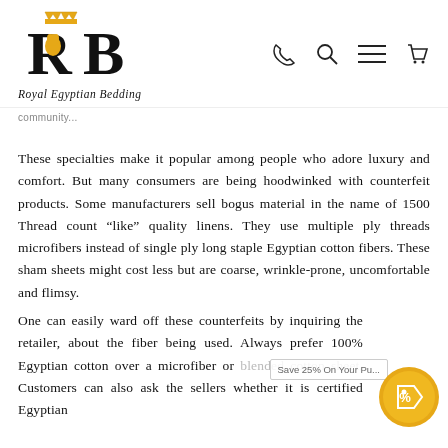Royal Egyptian Bedding — logo and navigation icons
community...
These specialties make it popular among people who adore luxury and comfort. But many consumers are being hoodwinked with counterfeit products. Some manufacturers sell bogus material in the name of 1500 Thread count “like” quality linens. They use multiple ply threads microfibers instead of single ply long staple Egyptian cotton fibers. These sham sheets might cost less but are coarse, wrinkle-prone, uncomfortable and flimsy.
One can easily ward off these counterfeits by inquiring the retailer, about the fiber being used. Always prefer 100% Egyptian cotton over a microfiber or blended cotton sheet. Customers can also ask the sellers whether it is certified Egyptian